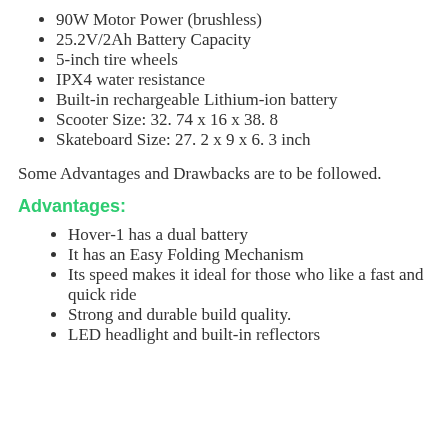90W Motor Power (brushless)
25.2V/2Ah Battery Capacity
5-inch tire wheels
IPX4 water resistance
Built-in rechargeable Lithium-ion battery
Scooter Size: 32. 74 x 16 x 38. 8
Skateboard Size: 27. 2 x 9 x 6. 3 inch
Some Advantages and Drawbacks are to be followed.
Advantages:
Hover-1 has a dual battery
It has an Easy Folding Mechanism
Its speed makes it ideal for those who like a fast and quick ride
Strong and durable build quality.
LED headlight and built-in reflectors